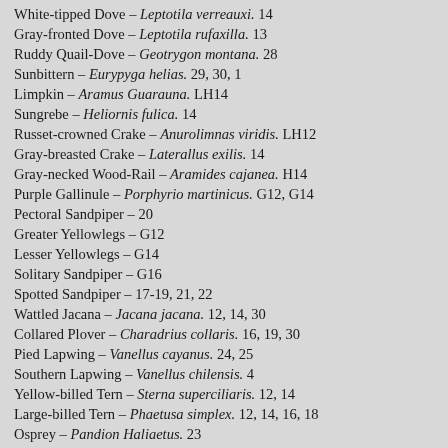White-tipped Dove – Leptotila verreauxi. 14
Gray-fronted Dove – Leptotila rufaxilla. 13
Ruddy Quail-Dove – Geotrygon montana. 28
Sunbittern – Eurypyga helias. 29, 30, 1
Limpkin – Aramus Guarauna. LH14
Sungrebe – Heliornis fulica. 14
Russet-crowned Crake – Anurolimnas viridis. LH12
Gray-breasted Crake – Laterallus exilis. 14
Gray-necked Wood-Rail – Aramides cajanea. H14
Purple Gallinule – Porphyrio martinicus. G12, G14
Pectoral Sandpiper – 20
Greater Yellowlegs – G12
Lesser Yellowlegs – G14
Solitary Sandpiper – G16
Spotted Sandpiper – 17-19, 21, 22
Wattled Jacana – Jacana jacana. 12, 14, 30
Collared Plover – Charadrius collaris. 16, 19, 30
Pied Lapwing – Vanellus cayanus. 24, 25
Southern Lapwing – Vanellus chilensis. 4
Yellow-billed Tern – Sterna superciliaris. 12, 14
Large-billed Tern – Phaetusa simplex. 12, 14, 16, 18
Osprey – Pandion Haliaetus. 23
Gray-headed Kite – Leptodon cayanensis. 19
Swallow-tailed Kite – Elanoides forficatus. 19, 23, 25, 29, 5
Snail Kite – Rostrhamus sociabilis. 14